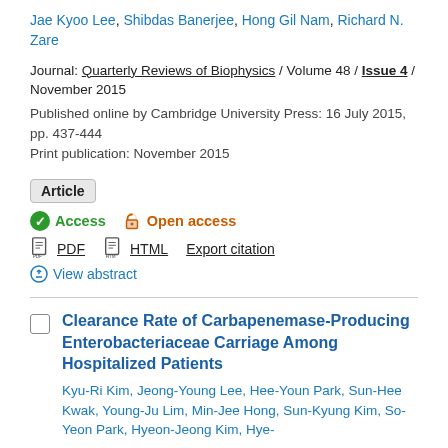Jae Kyoo Lee, Shibdas Banerjee, Hong Gil Nam, Richard N. Zare
Journal: Quarterly Reviews of Biophysics / Volume 48 / Issue 4 / November 2015
Published online by Cambridge University Press: 16 July 2015, pp. 437-444
Print publication: November 2015
Article
Access   Open access
PDF   HTML   Export citation
View abstract
Clearance Rate of Carbapenemase-Producing Enterobacteriaceae Carriage Among Hospitalized Patients
Kyu-Ri Kim, Jeong-Young Lee, Hee-Youn Park, Sun-Hee Kwak, Young-Ju Lim, Min-Jee Hong, Sun-Kyung Kim, So-Yeon Park, Hyeon-Jeong Kim, Hye-...